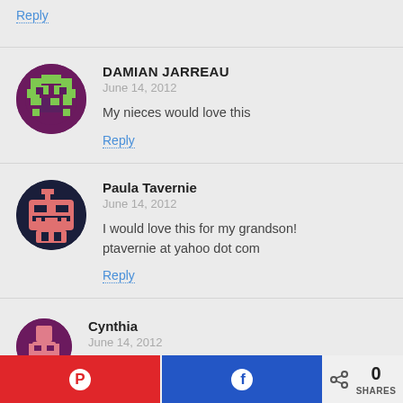Reply
DAMIAN JARREAU
June 14, 2012
My nieces would love this
Reply
Paula Tavernie
June 14, 2012
I would love this for my grandson!
ptavernie at yahoo dot com
Reply
Cynthia
June 14, 2012